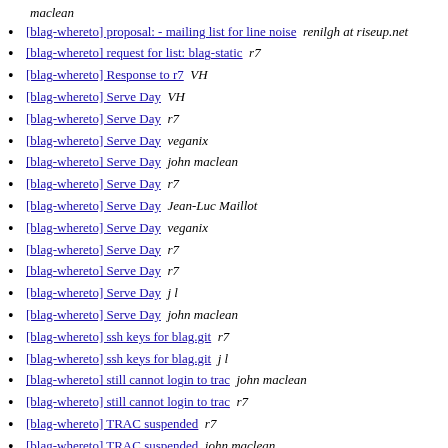maclean
[blag-whereto] proposal: - mailing list for line noise  renilgh at riseup.net
[blag-whereto] request for list: blag-static  r7
[blag-whereto] Response to r7  VH
[blag-whereto] Serve Day  VH
[blag-whereto] Serve Day  r7
[blag-whereto] Serve Day  veganix
[blag-whereto] Serve Day  john maclean
[blag-whereto] Serve Day  r7
[blag-whereto] Serve Day  Jean-Luc Maillot
[blag-whereto] Serve Day  veganix
[blag-whereto] Serve Day  r7
[blag-whereto] Serve Day  r7
[blag-whereto] Serve Day  j l
[blag-whereto] Serve Day  john maclean
[blag-whereto] ssh keys for blag.git  r7
[blag-whereto] ssh keys for blag.git  j l
[blag-whereto] still cannot login to trac  john maclean
[blag-whereto] still cannot login to trac  r7
[blag-whereto] TRAC suspended  r7
[blag-whereto] TRAC suspended  john maclean
[blag-whereto] update and therion news  JLM
[blag-whereto] update and therion news  john maclean
[blag-whereto] xen images  john maclean